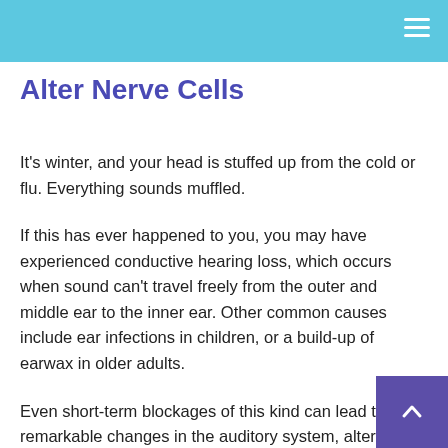Alter Nerve Cells
It's winter, and your head is stuffed up from the cold or flu. Everything sounds muffled.
If this has ever happened to you, you may have experienced conductive hearing loss, which occurs when sound can't travel freely from the outer and middle ear to the inner ear. Other common causes include ear infections in children, or a build-up of earwax in older adults.
Even short-term blockages of this kind can lead to remarkable changes in the auditory system, altering the behavior and structure of nerve cells that relay information from the ear to the brain, according to a new University at Buffalo study.